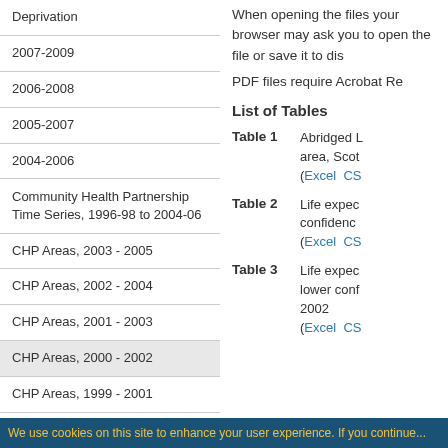Deprivation
2007-2009
2006-2008
2005-2007
2004-2006
Community Health Partnership Time Series, 1996-98 to 2004-06
CHP Areas, 2003 - 2005
CHP Areas, 2002 - 2004
CHP Areas, 2001 - 2003
CHP Areas, 2000 - 2002
CHP Areas, 1999 - 2001
When opening the files your browser may ask you to open the file or save it to disk.
PDF files require Acrobat Reader.
List of Tables
Table 1  Abridged Life Table by area, Scotland (Excel  CSV)
Table 2  Life expectancy and confidence intervals (Excel  CSV)
Table 3  Life expectancy and lower confidence interval, 2000-2002 (Excel  CSV)
We use cookies on this site to enhance your user experience. If you continue...